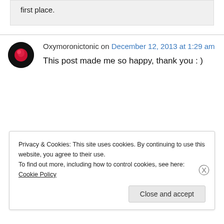first place.
Oxymoronictonic on December 12, 2013 at 1:29 am
This post made me so happy, thank you : )
Privacy & Cookies: This site uses cookies. By continuing to use this website, you agree to their use. To find out more, including how to control cookies, see here: Cookie Policy